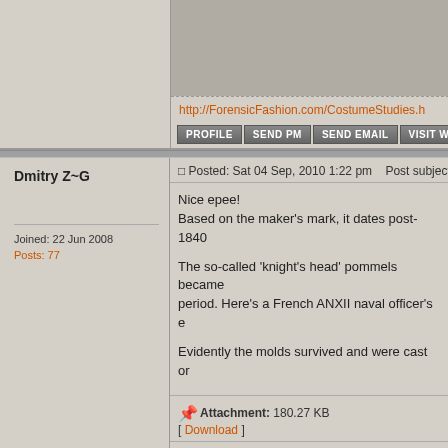[Figure (photo): Partial view of top section previous post image area]
http://ForensicFashion.com/CostumeStudies.h
PROFILE  SEND PM  SEND EMAIL  VISIT W
Dmitry Z~G
Joined: 22 Jun 2008
Posts: 77
Posted: Sat 04 Sep, 2010 1:22 pm    Post subject:
Nice epee!
Based on the maker's mark, it dates post-1840

The so-called 'knight's head' pommels became popular in that period. Here's a French ANXII naval officer's e

Evidently the molds survived and were cast or
Attachment: 180.27 KB
[ Download ]
Last edited by Dmitry Z~G on Sun 05 Sep, 2010 6:27 a
PROFILE  SEND PM
Sa'or Nudel